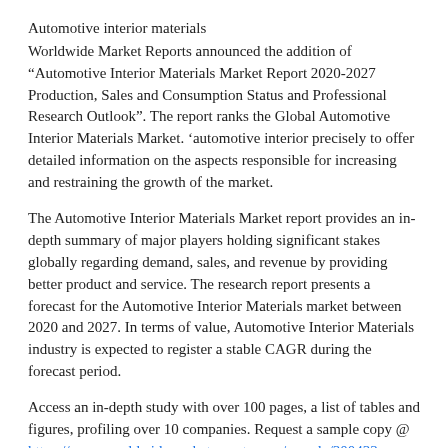Automotive interior materials
Worldwide Market Reports announced the addition of "Automotive Interior Materials Market Report 2020-2027 Production, Sales and Consumption Status and Professional Research Outlook". The report ranks the Global Automotive Interior Materials Market. 'automotive interior precisely to offer detailed information on the aspects responsible for increasing and restraining the growth of the market.
The Automotive Interior Materials Market report provides an in-depth summary of major players holding significant stakes globally regarding demand, sales, and revenue by providing better product and service. The research report presents a forecast for the Automotive Interior Materials market between 2020 and 2027. In terms of value, Automotive Interior Materials industry is expected to register a stable CAGR during the forecast period.
Access an in-depth study with over 100 pages, a list of tables and figures, profiling over 10 companies. Request a sample copy @ https://www.worldwidemarketreports.com/sample/300433